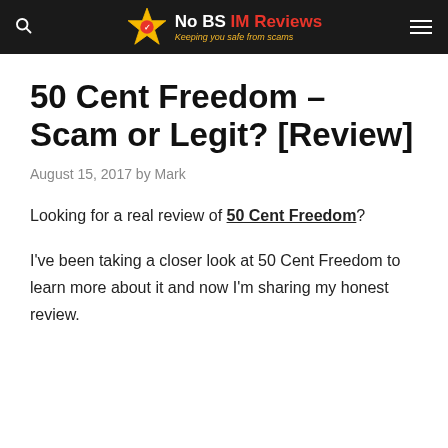No BS IM Reviews – Keeping you safe from scams
50 Cent Freedom – Scam or Legit? [Review]
August 15, 2017 by Mark
Looking for a real review of 50 Cent Freedom?
I've been taking a closer look at 50 Cent Freedom to learn more about it and now I'm sharing my honest review.